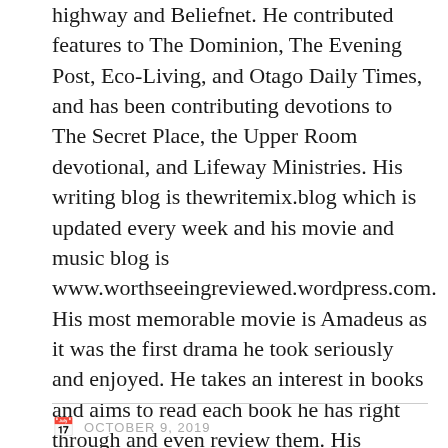highway and Beliefnet. He contributed features to The Dominion, The Evening Post, Eco-Living, and Otago Daily Times, and has been contributing devotions to The Secret Place, the Upper Room devotional, and Lifeway Ministries. His writing blog is thewritemix.blog which is updated every week and his movie and music blog is www.worthseeingreviewed.wordpress.com. His most memorable movie is Amadeus as it was the first drama he took seriously and enjoyed. He takes an interest in books and aims to read each book he has right through and even review them. His favorite children's book thus far is Wind in the Willows. Resourceful, eclectic, and enthusiastic, he has won several accolades for cricket, public speaking, debating, and scripture reading. View all posts by peteswriting
OCTOBER 9, 2019